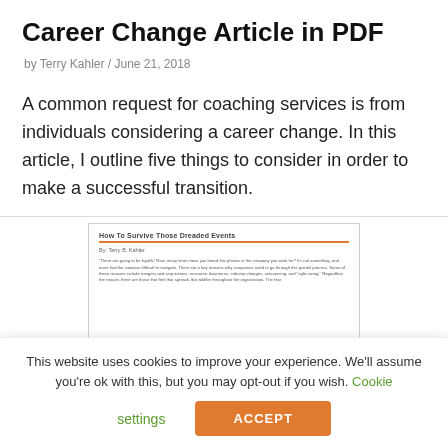Career Change Article in PDF
by Terry Kahler / June 21, 2018
A common request for coaching services is from individuals considering a career change. In this article, I outline five things to consider in order to make a successful transition.
[Figure (screenshot): Preview of a document titled 'How to Survive those Dreaded Events' by Terry B. Kahler, showing a heading, orange underline rule, and body text paragraph.]
This website uses cookies to improve your experience. We'll assume you're ok with this, but you may opt-out if you wish. Cookie settings ACCEPT